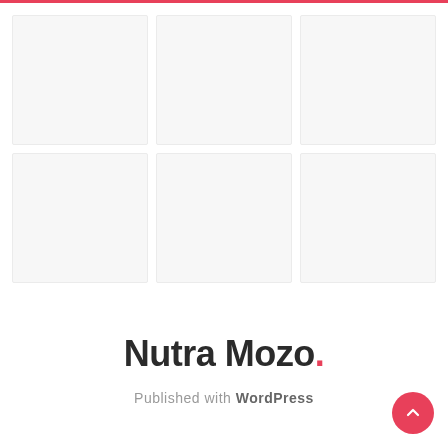[Figure (screenshot): A 3x2 grid of 6 empty placeholder image boxes with light gray backgrounds and borders, arranged on a white background. There is a pink/red horizontal bar at the very top of the page.]
Nutra Mozo.
Published with WordPress